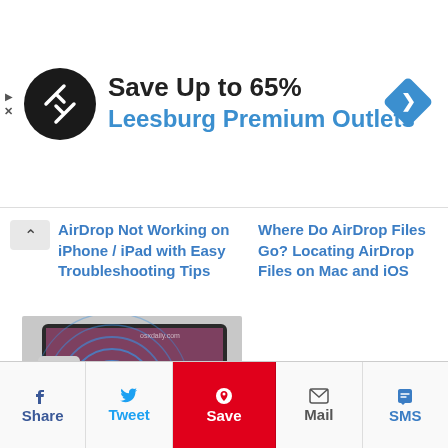[Figure (infographic): Advertisement banner: black circular logo with double arrow symbol, headline 'Save Up to 65%', subline 'Leesburg Premium Outlets' in blue, blue diamond navigation icon on the right. Small play and close icons on the far left.]
AirDrop Not Working on iPhone / iPad with Easy Troubleshooting Tips
Where Do AirDrop Files Go? Locating AirDrop Files on Mac and iOS
[Figure (photo): Photo showing an iPhone leaning against a MacBook display, with concentric blue WiFi/AirDrop circles emanating from the phone, and a red arrow pointing from phone toward Mac screen. Watermark 'osxdaily.com' visible in top right.]
How to AirDrop from iPhone to Mac
Share
Tweet
Save
Mail
SMS